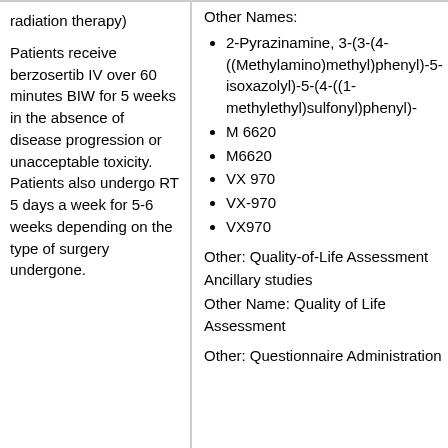radiation therapy)
Patients receive berzosertib IV over 60 minutes BIW for 5 weeks in the absence of disease progression or unacceptable toxicity. Patients also undergo RT 5 days a week for 5-6 weeks depending on the type of surgery undergone.
Other Names:
2-Pyrazinamine, 3-(3-(4-((Methylamino)methyl)phenyl)-5-isoxazolyl)-5-(4-((1-methylethyl)sulfonyl)phenyl)-
M 6620
M6620
VX 970
VX-970
VX970
Other: Quality-of-Life Assessment
Ancillary studies
Other Name: Quality of Life Assessment
Other: Questionnaire Administration